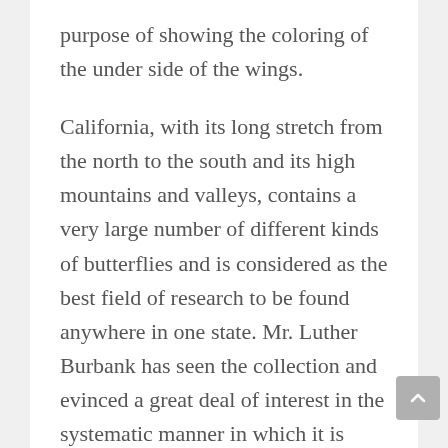purpose of showing the coloring of the under side of the wings.
California, with its long stretch from the north to the south and its high mountains and valleys, contains a very large number of different kinds of butterflies and is considered as the best field of research to be found anywhere in one state. Mr. Luther Burbank has seen the collection and evinced a great deal of interest in the systematic manner in which it is kept. A large part of the collection Mr. Comstock gathered himself, but still a good many he has acquired by trading